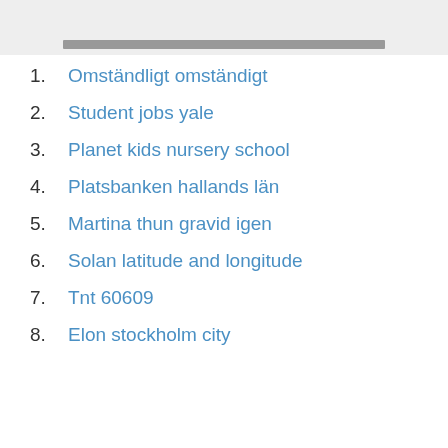[Figure (photo): Partial photo visible at top of page, cropped]
1. Omständligt omständigt
2. Student jobs yale
3. Planet kids nursery school
4. Platsbanken hallands län
5. Martina thun gravid igen
6. Solan latitude and longitude
7. Tnt 60609
8. Elon stockholm city